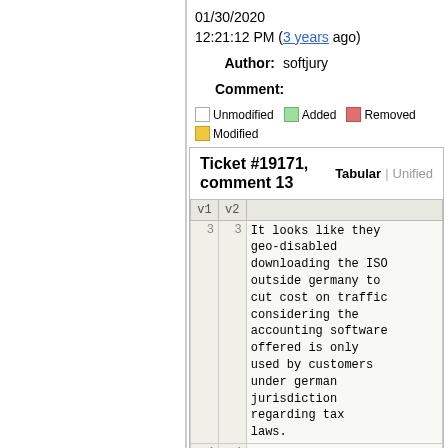01/30/2020 12:21:12 PM (3 years ago)
Author: softjury
Comment:
Unmodified  Added  Removed  Modified
| v1 | v2 |  |
| --- | --- | --- |
| 3 | 3 | It looks like they geo-disabled downloading the ISO outside germany to cut cost on traffic considering the accounting software offered is only used by customers under german jurisdiction regarding tax laws. |
| 4 | 4 |  |
| 5 |  | Please use [http://136.243.146.120/dv download-akamai/srv01/l8pE3f6LXqOvc |